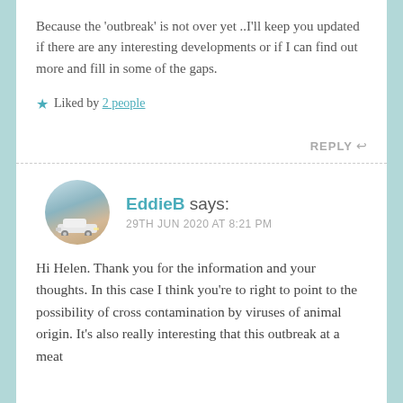Because the 'outbreak' is not over yet ..I'll keep you updated if there are any interesting developments or if I can find out more and fill in some of the gaps.
★ Liked by 2 people
REPLY ↩
EddieB says:
29TH JUN 2020 AT 8:21 PM
Hi Helen. Thank you for the information and your thoughts. In this case I think you're to right to point to the possibility of cross contamination by viruses of animal origin. It's also really interesting that this outbreak at a meat